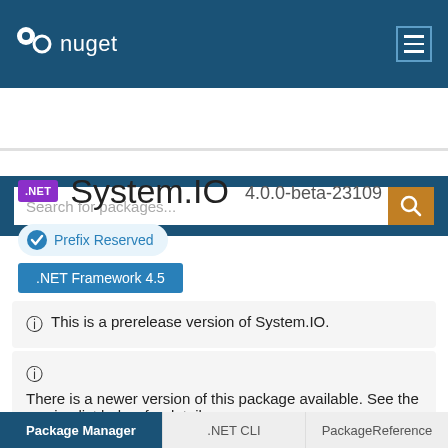nuget
Search for packages...
System.IO 4.0.0-beta-23109
Prefix Reserved
.NET Framework 4.5
This is a prerelease version of System.IO.
There is a newer version of this package available. See the version list below for details.
Package Manager | .NET CLI | PackageReference